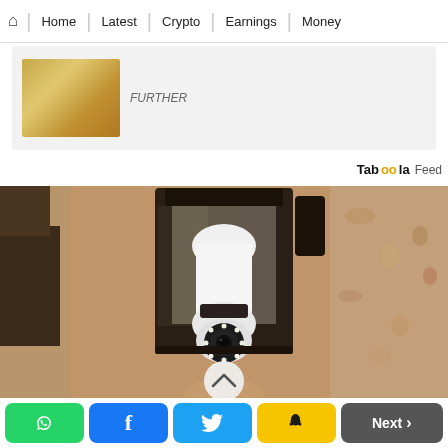Home | Latest | Crypto | Earnings | Money
[Figure (photo): Partial previous article snippet with a thumbnail image of a sandy/grainy texture and partial text 'FURTHER']
Taboola Feed
[Figure (photo): A light-bulb security camera installed inside an outdoor wall-mounted lantern fixture on a textured stucco/stone wall. The camera is white with LED ring and a camera lens at the bottom, screwed into the lantern socket. A hand is partially visible holding it. An upward chevron arrow in a circle overlays the image.]
Homeowners Are Trading In Their Doorbell Cams For This
[Figure (infographic): Social sharing buttons row: WhatsApp (green), Facebook (blue), Twitter (cyan), Snapchat (yellow), and Next button (dark gray)]